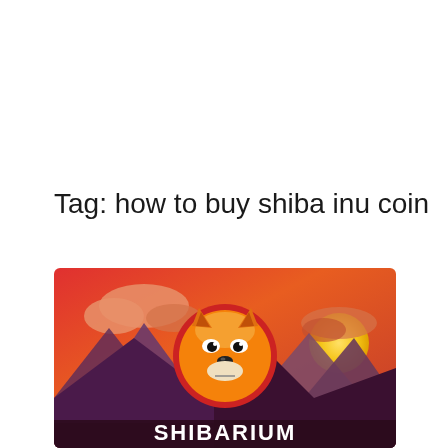Tag: how to buy shiba inu coin
[Figure (illustration): Shibarium promotional banner image with a Shiba Inu dog face logo centered in a red circle, set against an orange-red sunset gradient sky with mountains silhouette and clouds. The word SHIBARIUM appears in white bold text at the bottom.]